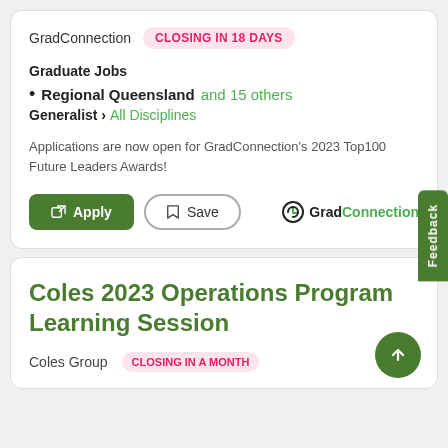GradConnection  CLOSING IN 18 DAYS
Graduate Jobs
Regional Queensland and 15 others
Generalist › All Disciplines
Applications are now open for GradConnection's 2023 Top100 Future Leaders Awards!
[Figure (screenshot): Apply and Save buttons with GradConnection logo]
Coles 2023 Operations Program Learning Session
Coles Group  CLOSING IN A MONTH